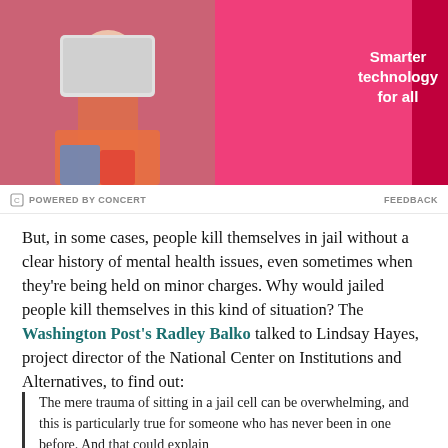[Figure (photo): Lenovo advertisement banner with pink background showing a person holding a laptop, with text 'Smarter technology for all' and Lenovo branding on the right sidebar]
POWERED BY CONCERT   FEEDBACK
But, in some cases, people kill themselves in jail without a clear history of mental health issues, even sometimes when they're being held on minor charges. Why would jailed people kill themselves in this kind of situation? The Washington Post's Radley Balko talked to Lindsay Hayes, project director of the National Center on Institutions and Alternatives, to find out:
The mere trauma of sitting in a jail cell can be overwhelming, and this is particularly true for someone who has never been in one before. And that could explain